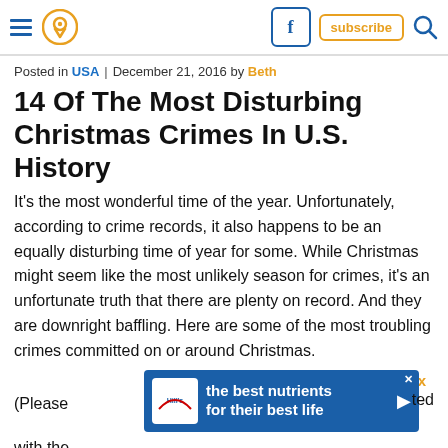Navigation bar with hamburger menu, location pin icon, Facebook button, subscribe button, search icon
Posted in USA | December 21, 2016 by Beth
14 Of The Most Disturbing Christmas Crimes In U.S. History
It's the most wonderful time of the year. Unfortunately, according to crime records, it also happens to be an equally disturbing time of year for some. While Christmas might seem like the most unlikely season for crimes, it's an unfortunate truth that there are plenty on record. And they are downright baffling. Here are some of the most troubling crimes committed on or around Christmas.
[Figure (other): Advertisement banner for Hill's pet food: 'the best nutrients for their best life' with Hill's logo on blue background]
(Please ... ted with the ...